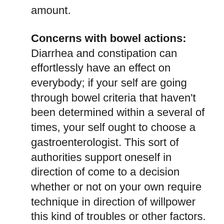amount.
Concerns with bowel actions:
Diarrhea and constipation can effortlessly have an effect on everybody; if your self are going through bowel criteria that haven't been determined within a several of times, your self ought to choose a gastroenterologist. This sort of authorities support oneself in direction of come to a decision whether or not on your own require technique in direction of willpower this kind of troubles or other factors.
Criteria with belly:
We all understand that bellyaches or belly discomfort are the maximum preferred complications. Still neglecting it for a lengthy